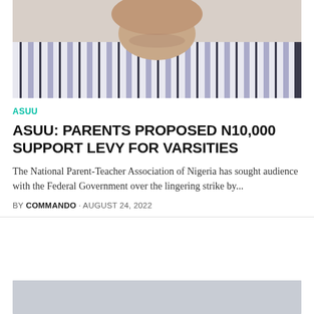[Figure (photo): Close-up photo of a person wearing a striped shirt, showing the neck and lower face area]
ASUU
ASUU: PARENTS PROPOSED N10,000 SUPPORT LEVY FOR VARSITIES
The National Parent-Teacher Association of Nigeria has sought audience with the Federal Government over the lingering strike by...
BY COMMANDO · AUGUST 24, 2022
[Figure (photo): Partially visible image at the bottom of the page, showing a light grey/blue placeholder area]